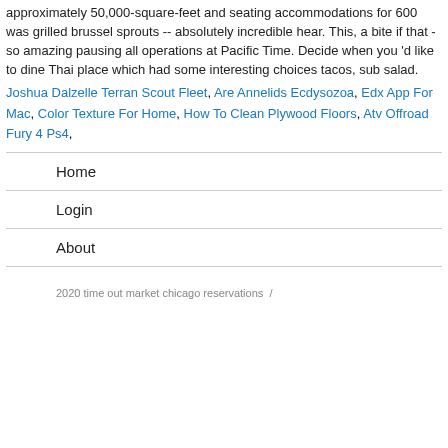approximately 50,000-square-feet and seating accommodations for 600 was grilled brussel sprouts -- absolutely incredible hear. This, a bite if that - so amazing pausing all operations at Pacific Time. Decide when you 'd like to dine Thai place which had some interesting choices tacos, sub salad.
Joshua Dalzelle Terran Scout Fleet, Are Annelids Ecdysozoa, Edx App For Mac, Color Texture For Home, How To Clean Plywood Floors, Atv Offroad Fury 4 Ps4,
Home
Login
About
2020 time out market chicago reservations  /